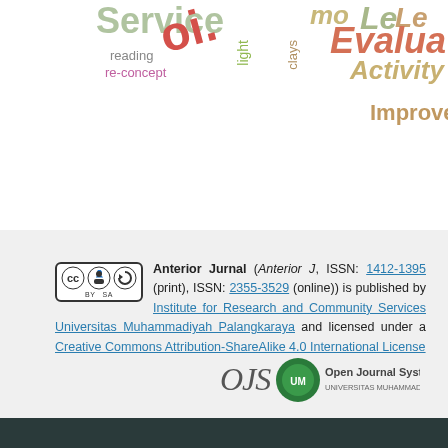[Figure (other): Word cloud with education-related terms in various colors and sizes: Service, reading, re-concept, light, clays, Improvement, Teachers, Evaluation, Activity, Le, Le, mo]
[Figure (logo): Creative Commons BY-SA license badge]
Anterior Jurnal (Anterior J, ISSN: 1412-1395 (print), ISSN: 2355-3529 (online)) is published by Institute for Research and Community Services Universitas Muhammadiyah Palangkaraya and licensed under a Creative Commons Attribution-ShareAlike 4.0 International License
[Figure (logo): OJS Open Journal Systems of Universitas Muhammadiyah Palangkaraya logo]